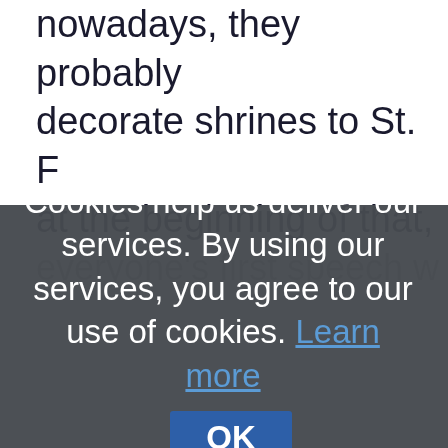nowadays, they probably decorate shrines to St. F at the beginning of that, everyone's first speech w
Cookies help us deliver our services. By using our services, you agree to our use of cookies. Learn more
OK